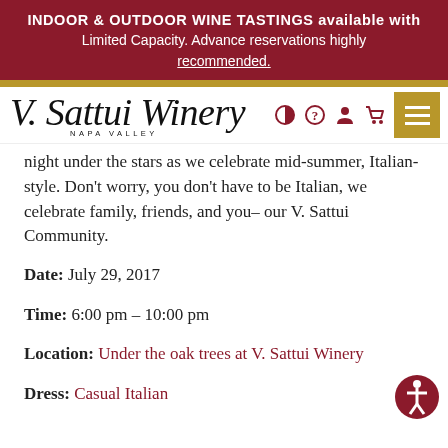INDOOR & OUTDOOR WINE TASTINGS available with Limited Capacity. Advance reservations highly recommended.
[Figure (logo): V. Sattui Winery Napa Valley logo with navigation icons and hamburger menu button]
night under the stars as we celebrate mid-summer, Italian-style. Don't worry, you don't have to be Italian, we celebrate family, friends, and you– our V. Sattui Community.
Date: July 29, 2017
Time: 6:00 pm – 10:00 pm
Location: Under the oak trees at V. Sattui Winery
Dress: Casual Italian